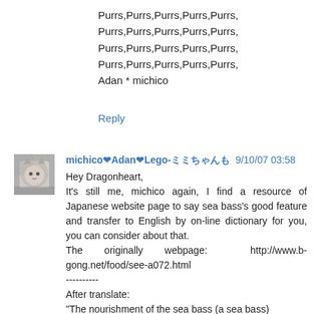Purrs,Purrs,Purrs,Purrs,Purrs,
Purrs,Purrs,Purrs,Purrs,Purrs,
Purrs,Purrs,Purrs,Purrs,Purrs,
Purrs,Purrs,Purrs,Purrs,Purrs,
Adan * michico
Reply
[Figure (photo): Avatar photo of a cat]
michico❤Adan❤Lego-ミミちゃんも 9/10/07 03:58
Hey Dragonheart,
It's still me, michico again, I find a resource of Japanese website page to say sea bass's good feature and transfer to English by on-line dictionary for you, you can consider about that.
The originally webpage: http://www.b-gong.net/food/see-a072.html
----------
After translate:
"The nourishment of the sea bass (a sea bass)

I take a lot of fat-solubility vitamin in a sea bass (a sea